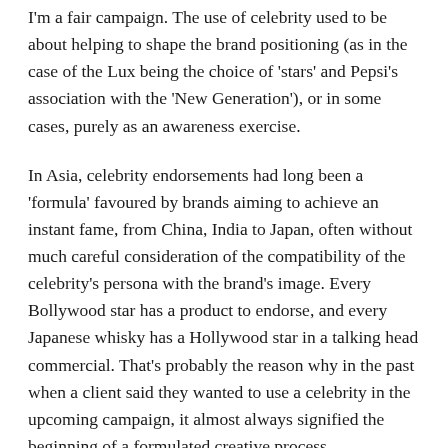I'm a fair campaign. The use of celebrity used to be about helping to shape the brand positioning (as in the case of the Lux being the choice of 'stars' and Pepsi's association with the 'New Generation'), or in some cases, purely as an awareness exercise.
In Asia, celebrity endorsements had long been a 'formula' favoured by brands aiming to achieve an instant fame, from China, India to Japan, often without much careful consideration of the compatibility of the celebrity's persona with the brand's image. Every Bollywood star has a product to endorse, and every Japanese whisky has a Hollywood star in a talking head commercial. That's probably the reason why in the past when a client said they wanted to use a celebrity in the upcoming campaign, it almost always signified the beginning of a formulated creative process.